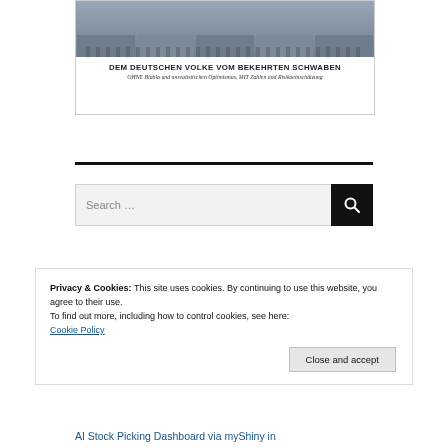[Figure (illustration): Book cover card with crowd photo at top, bold German title 'DEM DEUTSCHEN VOLKE VOM BEKEHRTEN SCHWABEN', and italic subtitle 'OHNE Blabla und unrealistischen Optimismus, MIT Zahlen und Risikoeinschätzung']
DEM DEUTSCHEN VOLKE VOM BEKEHRTEN SCHWABEN
OHNE Blabla und unrealistischen Optimismus, MIT Zahlen und Risikoeinschätzung
Search ...
Privacy & Cookies: This site uses cookies. By continuing to use this website, you agree to their use.
To find out more, including how to control cookies, see here:
Cookie Policy
Close and accept
AI Stock Picking Dashboard via myShiny in